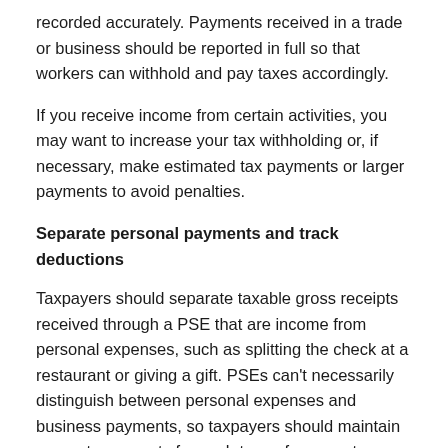recorded accurately. Payments received in a trade or business should be reported in full so that workers can withhold and pay taxes accordingly.
If you receive income from certain activities, you may want to increase your tax withholding or, if necessary, make estimated tax payments or larger payments to avoid penalties.
Separate personal payments and track deductions
Taxpayers should separate taxable gross receipts received through a PSE that are income from personal expenses, such as splitting the check at a restaurant or giving a gift. PSEs can't necessarily distinguish between personal expenses and business payments, so taxpayers should maintain separate accounts for each type of payment.
Keep in mind that taxpayers who haven't been reporting all income from gig work may not have